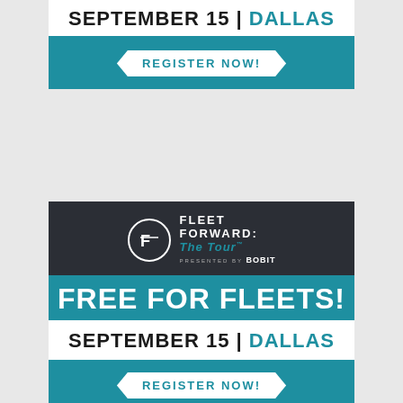SEPTEMBER 15 | DALLAS
[Figure (infographic): Teal 'REGISTER NOW!' button on teal background, hexagonal shape]
[Figure (logo): Fleet Forward: The Tour logo with circle F icon, presented by Bobit, on dark background with FREE FOR FLEETS! in white text on teal]
SEPTEMBER 15 | DALLAS
[Figure (infographic): Teal 'REGISTER NOW!' button on teal background, hexagonal shape]